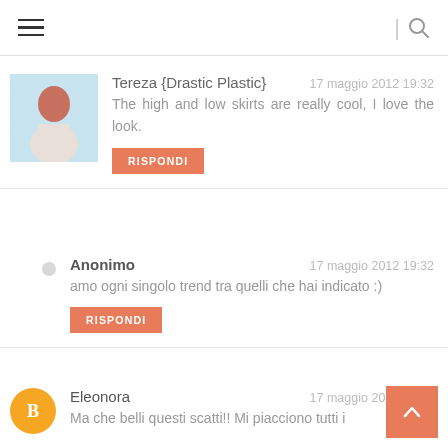≡  |  🔍
[Figure (photo): Profile photo of Tereza - woman with red hair]
Tereza {Drastic Plastic}
17 maggio 2012 19:32
The high and low skirts are really cool, I love the look.
RISPONDI
Anonimo
17 maggio 2012 19:32
amo ogni singolo trend tra quelli che hai indicato :)
RISPONDI
[Figure (logo): Orange circle Blogger icon]
Eleonora
17 maggio 2012 19:31
Ma che belli questi scatti!! Mi piacciono tutti i